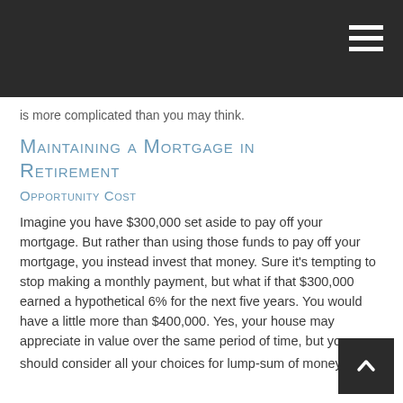is more complicated than you may think.
Maintaining a Mortgage in Retirement
Opportunity Cost
Imagine you have $300,000 set aside to pay off your mortgage. But rather than using those funds to pay off your mortgage, you instead invest that money. Sure it's tempting to stop making a monthly payment, but what if that $300,000 earned a hypothetical 6% for the next five years. You would have a little more than $400,000. Yes, your house may appreciate in value over the same period of time, but you should consider all your choices for lump-sum of money.¹